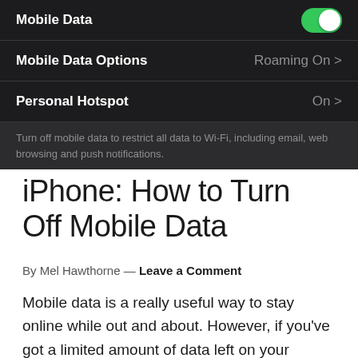[Figure (screenshot): iPhone Settings screen showing Mobile Data toggle (on/green), Mobile Data Options (Roaming On >), Personal Hotspot (On >), and a footnote: 'Turn off mobile data to restrict all data to Wi-Fi, including email, web browsing and push notifications.']
iPhone: How to Turn Off Mobile Data
By Mel Hawthorne — Leave a Comment
Mobile data is a really useful way to stay online while out and about. However, if you've got a limited amount of data left on your contract, you'll probably want to be careful with it. Turning off your mobile data will stop apps from using your data in the background, saving it